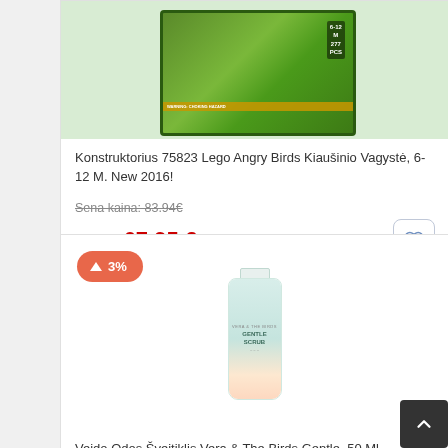[Figure (photo): Lego Angry Birds 75823 construction set box image showing characters and vehicles on a green background]
Konstruktorius 75823 Lego Angry Birds Kiaušinio Vagystė, 6-12 M. New 2016!
Sena kaina: 83.94€
Kaina 67.95 €
[Figure (photo): Vera & The Birds Gentle Scrub face scrub product bottle, 50 ml, white bottle with illustrated packaging]
↑ 3%
Veido Odos Šveitiklis Vera & The Birds Gentle, 50 Ml